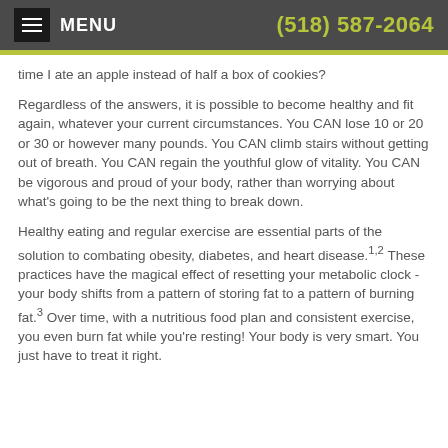MENU  (518) 587-2064
time I ate an apple instead of half a box of cookies?
Regardless of the answers, it is possible to become healthy and fit again, whatever your current circumstances. You CAN lose 10 or 20 or 30 or however many pounds. You CAN climb stairs without getting out of breath. You CAN regain the youthful glow of vitality. You CAN be vigorous and proud of your body, rather than worrying about what's going to be the next thing to break down.
Healthy eating and regular exercise are essential parts of the solution to combating obesity, diabetes, and heart disease.1,2 These practices have the magical effect of resetting your metabolic clock - your body shifts from a pattern of storing fat to a pattern of burning fat.3 Over time, with a nutritious food plan and consistent exercise, you even burn fat while you're resting! Your body is very smart. You just have to treat it right.